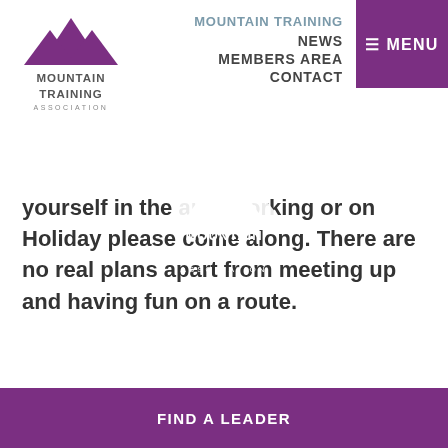[Figure (logo): Mountain Training Association logo - purple mountain peaks above text MOUNTAIN TRAINING ASSOCIATION]
MOUNTAIN TRAINING
NEWS
MEMBERS AREA
CONTACT
≡ MENU
yourself in the area working or on Holiday please come along. There are no real plans apart from meeting up and having fun on a route.
[Figure (logo): Mountain Training Association logo in white on purple background - mountain peaks above MOUNTAIN TRAINING ASSOCIATION text]
FIND A LEADER
FIND A COURSE
SHOP